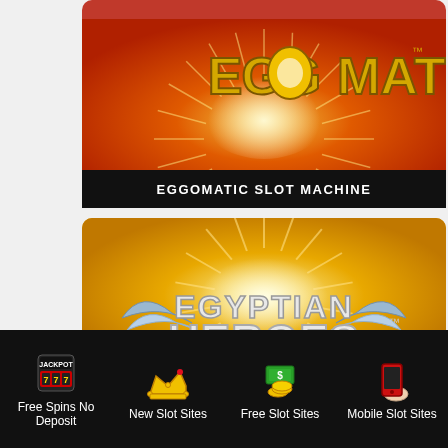[Figure (screenshot): EggOMatic slot machine game promotional image with orange-red background and logo with sunburst rays]
EGGOMATIC SLOT MACHINE
[Figure (screenshot): Egyptian Heroes slot machine game promotional image with golden background and logo with wings]
Free Spins No Deposit
New Slot Sites
Free Slot Sites
Mobile Slot Sites